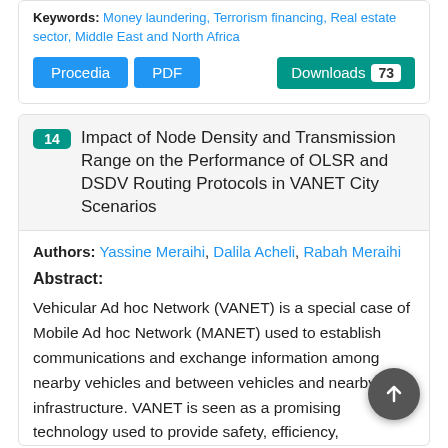Keywords: Money laundering, Terrorism financing, Real estate sector, Middle East and North Africa
Procedia  PDF  Downloads 73
14 Impact of Node Density and Transmission Range on the Performance of OLSR and DSDV Routing Protocols in VANET City Scenarios
Authors: Yassine Meraihi, Dalila Acheli, Rabah Meraihi
Abstract:
Vehicular Ad hoc Network (VANET) is a special case of Mobile Ad hoc Network (MANET) used to establish communications and exchange information among nearby vehicles and between vehicles and nearby fixed infrastructure. VANET is seen as a promising technology used to provide safety, efficiency,